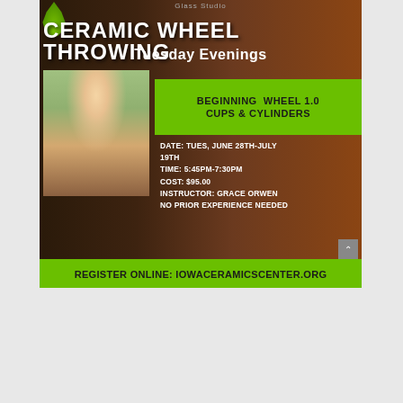Glass Studio
CERAMIC WHEEL THROWING
Tuesday Evenings
[Figure (photo): Woman sitting on floor working on pottery wheel with clay]
BEGINNING WHEEL 1.0
CUPS & CYLINDERS
DATE: TUES, JUNE 28TH-JULY 19TH
TIME: 5:45PM-7:30PM
COST: $95.00
INSTRUCTOR: GRACE ORWEN
NO PRIOR EXPERIENCE NEEDED
REGISTER ONLINE: IOWACERAMICSCENTER.ORG